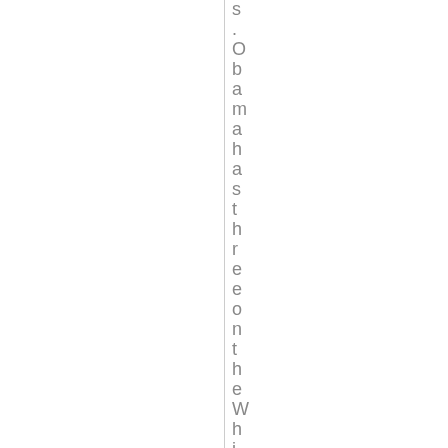s . O b a m a h a s t h r e e o n t h e W h i t e